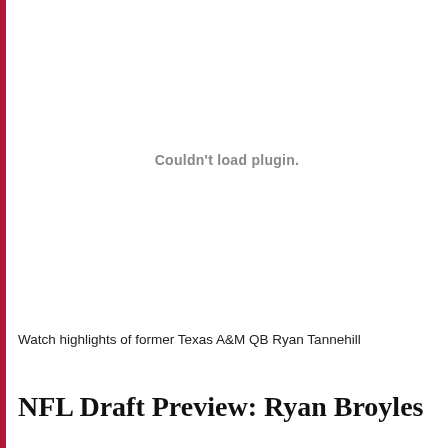[Figure (other): Embedded video plugin area showing 'Couldn't load plugin.' error message with a red vertical bar on the left side]
Watch highlights of former Texas A&M QB Ryan Tannehill
NFL Draft Preview: Ryan Broyles